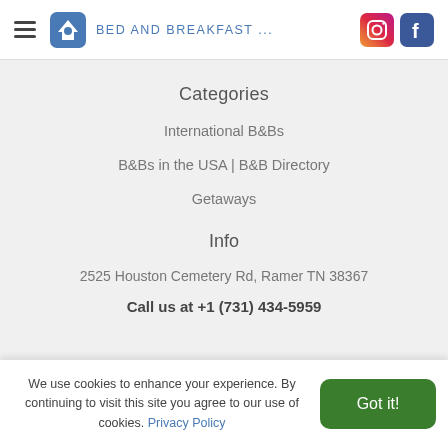BED AND BREAKFAST ...
Categories
International B&Bs
B&Bs in the USA | B&B Directory
Getaways
Info
2525 Houston Cemetery Rd, Ramer TN 38367
Call us at +1 (731) 434-5959
We use cookies to enhance your experience. By continuing to visit this site you agree to our use of cookies. Privacy Policy